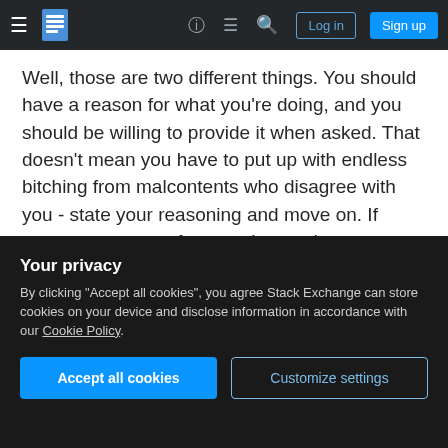Stack Exchange navigation bar with login and sign up buttons
Well, those are two different things. You should have a reason for what you're doing, and you should be willing to provide it when asked. That doesn't mean you have to put up with endless bitching from malcontents who disagree with you - state your reasoning and move on. If someone comes after you, let another moderator handle it - just like any other user would.
This is advice you should be giving to any other member of the site when you see them getting
Your privacy
By clicking "Accept all cookies", you agree Stack Exchange can store cookies on your device and disclose information in accordance with our Cookie Policy.
Accept all cookies
Customize settings
So please don't forget moderators are just